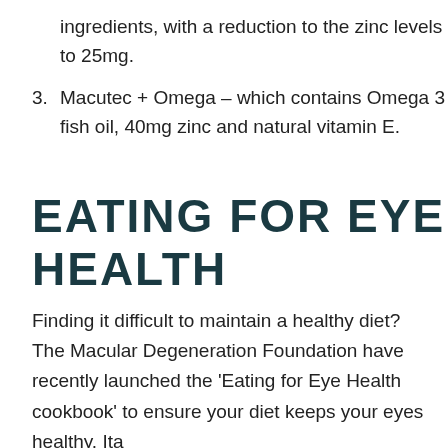ingredients, with a reduction to the zinc levels to 25mg.
Macutec + Omega – which contains Omega 3 fish oil, 40mg zinc and natural vitamin E.
EATING FOR EYE HEALTH
Finding it difficult to maintain a healthy diet? The Macular Degeneration Foundation have recently launched the ‘Eating for Eye Health cookbook’ to ensure your diet keeps your eyes healthy. Ita